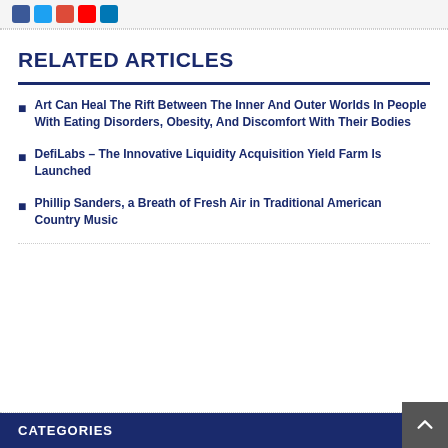[Figure (other): Social media share icons: Facebook (blue), Twitter (cyan), Google+ (red/orange), YouTube (red), LinkedIn (blue)]
RELATED ARTICLES
Art Can Heal The Rift Between The Inner And Outer Worlds In People With Eating Disorders, Obesity, And Discomfort With Their Bodies
DefiLabs – The Innovative Liquidity Acquisition Yield Farm Is Launched
Phillip Sanders, a Breath of Fresh Air in Traditional American Country Music
CATEGORIES